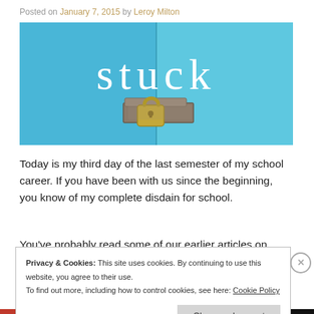Posted on January 7, 2015 by Leroy Milton
[Figure (photo): A blue door with a padlock and the word 'stuck' in white serif text overlay]
Today is my third day of the last semester of my school career. If you have been with us since the beginning, you know of my complete disdain for school.
You've probably read some of our earlier articles on
Privacy & Cookies: This site uses cookies. By continuing to use this website, you agree to their use. To find out more, including how to control cookies, see here: Cookie Policy
Close and accept